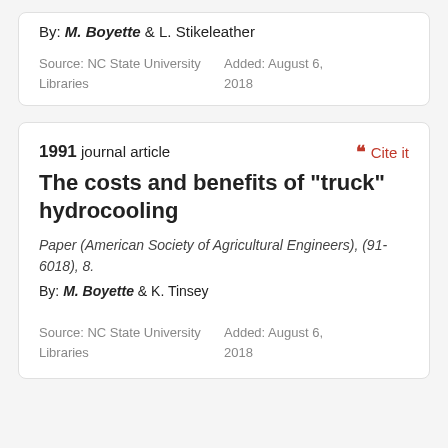By: M. Boyette & L. Stikeleather
Source: NC State University Libraries
Added: August 6, 2018
1991 journal article
Cite it
The costs and benefits of "truck" hydrocooling
Paper (American Society of Agricultural Engineers), (91-6018), 8.
By: M. Boyette & K. Tinsey
Source: NC State University Libraries
Added: August 6, 2018